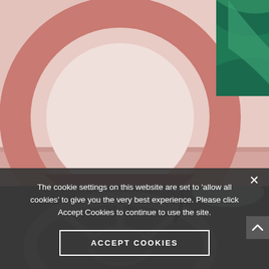[Figure (photo): Top half: Close-up of a round pink/red steering wheel cover or decorative object on a pink shelf, with green tropical leaf decoration visible at top right. Bottom half: Dark background showing what appears to be a car steering wheel interior.]
The cookie settings on this website are set to 'allow all cookies' to give you the very best experience. Please click Accept Cookies to continue to use the site.
ACCEPT COOKIES